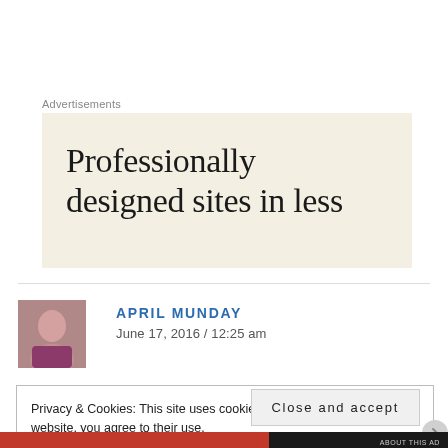Advertisements
[Figure (screenshot): Advertisement banner with beige background showing text: 'Professionally designed sites in less']
APRIL MUNDAY
June 17, 2016 / 12:25 am
Privacy & Cookies: This site uses cookies. By continuing to use this website, you agree to their use.
To find out more, including how to control cookies, see here: Cookie Policy
Close and accept